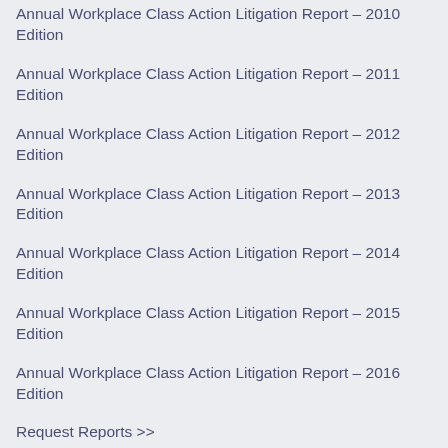Annual Workplace Class Action Litigation Report – 2010 Edition
Annual Workplace Class Action Litigation Report – 2011 Edition
Annual Workplace Class Action Litigation Report – 2012 Edition
Annual Workplace Class Action Litigation Report – 2013 Edition
Annual Workplace Class Action Litigation Report – 2014 Edition
Annual Workplace Class Action Litigation Report – 2015 Edition
Annual Workplace Class Action Litigation Report – 2016 Edition
Request Reports >>